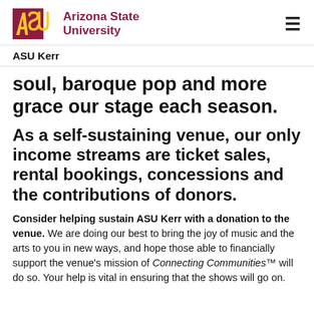ASU Arizona State University
ASU Kerr
soul, baroque pop and more grace our stage each season.
As a self-sustaining venue, our only income streams are ticket sales, rental bookings, concessions and the contributions of donors.
Consider helping sustain ASU Kerr with a donation to the venue. We are doing our best to bring the joy of music and the arts to you in new ways, and hope those able to financially support the venue's mission of Connecting Communities™ will do so. Your help is vital in ensuring that the shows will go on.